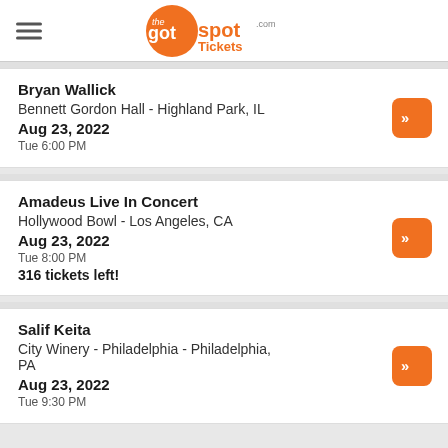theGotSpot.com Tickets
Bryan Wallick | Bennett Gordon Hall - Highland Park, IL | Aug 23, 2022 | Tue 6:00 PM
Amadeus Live In Concert | Hollywood Bowl - Los Angeles, CA | Aug 23, 2022 | Tue 8:00 PM | 316 tickets left!
Salif Keita | City Winery - Philadelphia - Philadelphia, PA | Aug 23, 2022 | Tue 9:30 PM